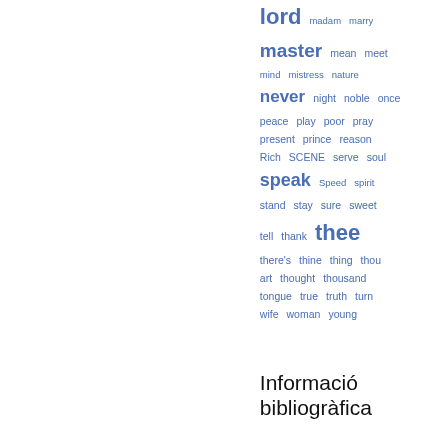[Figure (other): Word cloud showing various English words in different sizes rendered in blue, representing frequency/importance. Words include: lord, madam, marry, master, mean, meet, mind, mistress, nature, never, night, noble, once, peace, play, poor, pray, present, prince, reason, Rich, SCENE, serve, soul, speak, Speed, spirit, stand, stay, sure, sweet, tell, thank, thee, there's, thine, thing, thou, art, thought, thousand, tongue, true, truth, turn, wife, woman, young]
Informació bibliogràfica